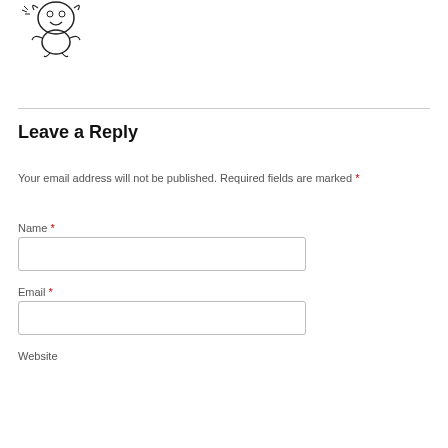[Figure (illustration): Black and white cartoon illustration of a character (mascot) in the top left corner]
Leave a Reply
Your email address will not be published. Required fields are marked *
Name *
Email *
Website